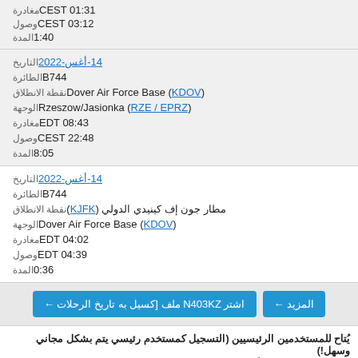مغادرة CEST 01:31
وصول CEST 03:12
المدة 1:40
التاريخ 14-أغس-2022
الطائرة B744
نقطة الانطلاق (KDOV) Dover Air Force Base
الوجهة (RZE / EPRZ) Rzeszow/Jasionka
مغادرة EDT 08:43
وصول CEST 22:48
المدة 8:05
التاريخ 14-أغس-2022
الطائرة B744
نقطة الانطلاق مطار جون إف كينيدي الدولي (KJFK)
الوجهة (KDOV) Dover Air Force Base
مغادرة EDT 04:02
وصول EDT 04:39
المدة 0:36
المزيد → | اشتر N403KZ ملف [كسيل به تاريخ الرحلات ←
يُتاح للمستخدمين الرئيسيين (التسجيل كمستخدم رئيسي يتم بشكل مجاني وسهل!) كـ من months 3 ابتداءً من اليوم الحالي. اتفمزيد من